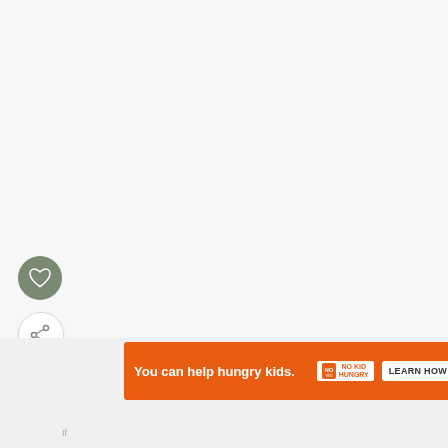[Figure (illustration): Heart/favorite button: dark olive green circular button with white heart icon]
[Figure (illustration): Share button: white circular button with share/add icon]
WHAT'S NEXT →
Hot and Sweet Pickled...
[Figure (photo): Thumbnail circular image of hot and sweet pickled vegetables]
[Figure (screenshot): Orange advertisement banner: 'You can help hungry kids.' with No Kid Hungry logo and LEARN HOW button]
[Figure (logo): WW (Weight Watchers) logo marks appearing twice on the right side]